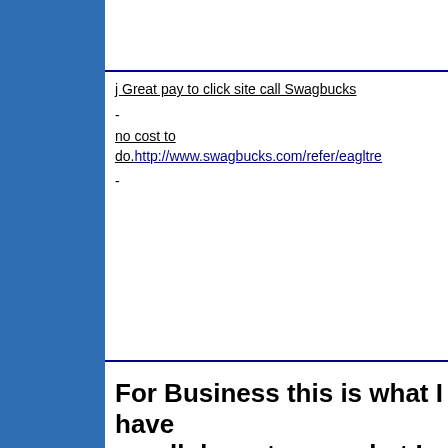j Great pay to click site call Swagbucks
-
no cost to do. http://www.swagbucks.com/refer/eagltre
-
For Business this is what I have scroll down to see what I can do does a dot.com Have a name th your so you can not get one .Does a to much? I have the solution for you. for only $ 10.00 a month you ca Get Your Domain Today,Free 7 d